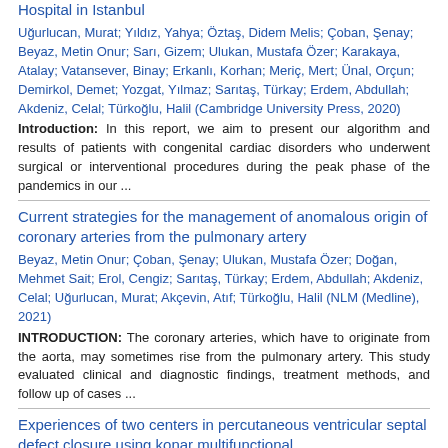Hospital in Istanbul
Uğurlucan, Murat; Yıldız, Yahya; Öztaş, Didem Melis; Çoban, Şenay; Beyaz, Metin Onur; Sarı, Gizem; Ulukan, Mustafa Özer; Karakaya, Atalay; Vatansever, Binay; Erkanlı, Korhan; Meriç, Mert; Ünal, Orçun; Demirkol, Demet; Yozgat, Yılmaz; Sarıtaş, Türkay; Erdem, Abdullah; Akdeniz, Celal; Türkoğlu, Halil (Cambridge University Press, 2020)
Introduction: In this report, we aim to present our algorithm and results of patients with congenital cardiac disorders who underwent surgical or interventional procedures during the peak phase of the pandemics in our ...
Current strategies for the management of anomalous origin of coronary arteries from the pulmonary artery
Beyaz, Metin Onur; Çoban, Şenay; Ulukan, Mustafa Özer; Doğan, Mehmet Sait; Erol, Cengiz; Sarıtaş, Türkay; Erdem, Abdullah; Akdeniz, Celal; Uğurlucan, Murat; Akçevin, Atıf; Türkoğlu, Halil (NLM (Medline), 2021)
INTRODUCTION: The coronary arteries, which have to originate from the aorta, may sometimes rise from the pulmonary artery. This study evaluated clinical and diagnostic findings, treatment methods, and follow up of cases ...
Experiences of two centers in percutaneous ventricular septal defect closure using konar multifunctional